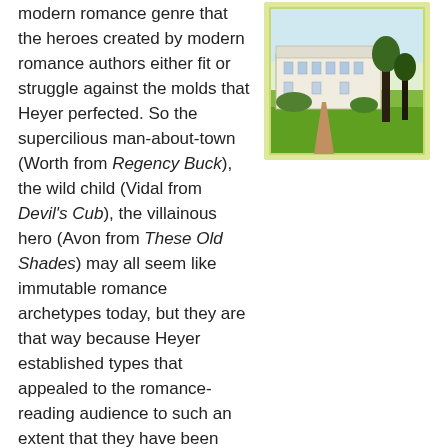modern romance genre that the heroes created by modern romance authors either fit or struggle against the molds that Heyer perfected. So the supercilious man-about-town (Worth from Regency Buck), the wild child (Vidal from Devil's Cub), the villainous hero (Avon from These Old Shades) may all seem like immutable romance archetypes today, but they are that way because Heyer established types that appealed to the romance-reading audience to such an extent that they have been copied and revised and expanded upon in Regency and historical romances for almost a century.
[Figure (illustration): Book cover illustration showing a large country house/manor in the background with trees and a path, painted in a pastoral landscape style with green and earthy tones, surrounded by a pale yellow-green border.]
If you'd like to read a bit more about Heyer's novels, Sherwood Smith has written a long and interesting post which compares their depiction of upper-class Regency life to both the fictional worlds of the earlier "Silver Fork" novels and the contemporary social sphere of some of Heyer's